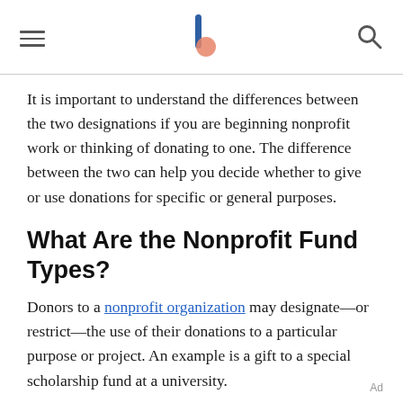[hamburger menu] [logo] [search icon]
It is important to understand the differences between the two designations if you are beginning nonprofit work or thinking of donating to one. The difference between the two can help you decide whether to give or use donations for specific or general purposes.
What Are the Nonprofit Fund Types?
Donors to a nonprofit organization may designate—or restrict—the use of their donations to a particular purpose or project. An example is a gift to a special scholarship fund at a university.
Unrestricted funds are donations the nonprofit may
Ad